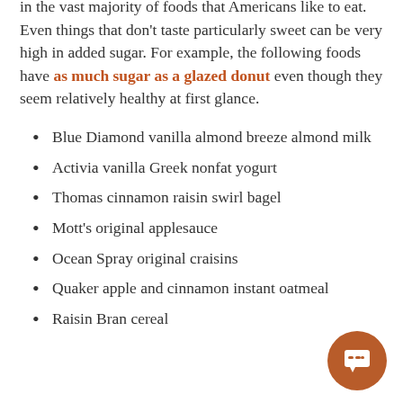unexpected places. It's legal, accessible, inexpensive, and in the vast majority of foods that Americans like to eat. Even things that don't taste particularly sweet can be very high in added sugar. For example, the following foods have as much sugar as a glazed donut even though they seem relatively healthy at first glance.
Blue Diamond vanilla almond breeze almond milk
Activia vanilla Greek nonfat yogurt
Thomas cinnamon raisin swirl bagel
Mott's original applesauce
Ocean Spray original craisins
Quaker apple and cinnamon instant oatmeal
Raisin Bran cereal